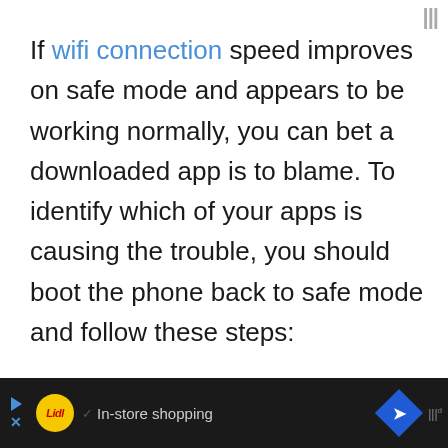If wifi connection speed improves on safe mode and appears to be working normally, you can bet a downloaded app is to blame. To identify which of your apps is causing the trouble, you should boot the phone back to safe mode and follow these steps:
1. Boot to safe mode.
2. Check for the problem.
[Figure (other): Advertisement bar at bottom: Lidl in-store shopping ad with navigation icon]